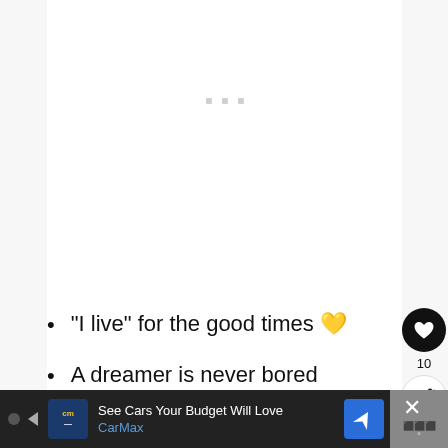[Figure (other): Loading placeholder area with three small grey dots centered in white content box]
“I live” for the good times 💛
A dreamer is never bored
[Figure (other): Bottom ad bar: CarMax advertisement with logo, text 'See Cars Your Budget Will Love / CarMax', navigation icon, and close button]
[Figure (other): Right sidebar with heart/like button showing count 10 and share button]